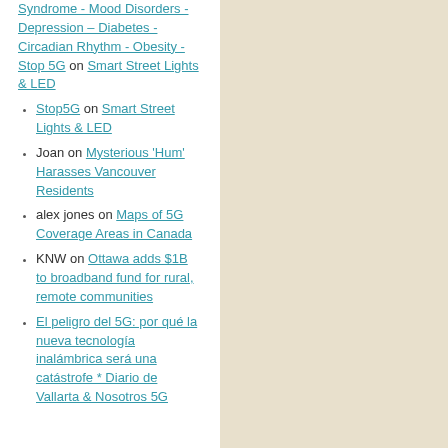Syndrome - Mood Disorders - Depression – Diabetes - Circadian Rhythm - Obesity - Stop 5G on Smart Street Lights & LED
Stop5G on Smart Street Lights & LED
Joan on Mysterious 'Hum' Harasses Vancouver Residents
alex jones on Maps of 5G Coverage Areas in Canada
KNW on Ottawa adds $1B to broadband fund for rural, remote communities
El peligro del 5G: por qué la nueva tecnología inalámbrica será una catástrofe * Diario de Vallarta & Nosotros 5G